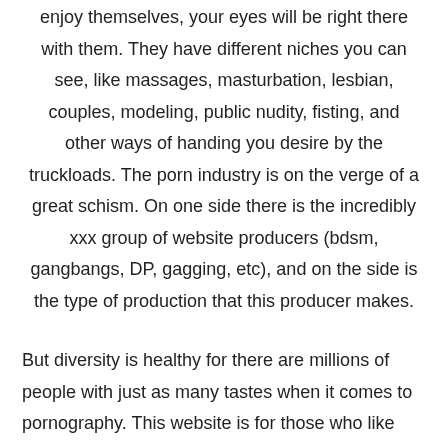enjoy themselves, your eyes will be right there with them. They have different niches you can see, like massages, masturbation, lesbian, couples, modeling, public nudity, fisting, and other ways of handing you desire by the truckloads. The porn industry is on the verge of a great schism. On one side there is the incredibly xxx group of website producers (bdsm, gangbangs, DP, gagging, etc), and on the side is the type of production that this producer makes.
But diversity is healthy for there are millions of people with just as many tastes when it comes to pornography. This website is for those who like young lasses with romantic and erotic themes. Also, members here enjoy